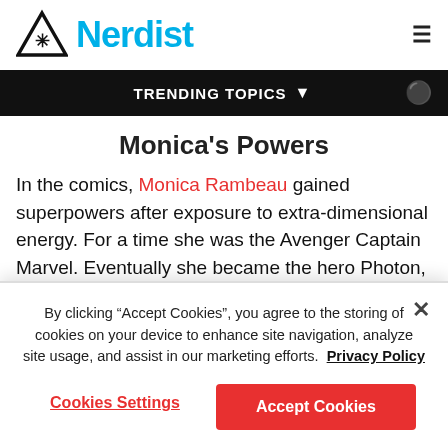Nerdist
TRENDING TOPICS
Monica's Powers
In the comics, Monica Rambeau gained superpowers after exposure to extra-dimensional energy. For a time she was the Avenger Captain Marvel. Eventually she became the hero Photon, which, as seen in a S.W.O.R.D. plaque on WandaVision, is her late mother's nickname in the MCU. Monica possessed incredible abilities in the comics. She could transform into, and control, any form
By clicking “Accept Cookies”, you agree to the storing of cookies on your device to enhance site navigation, analyze site usage, and assist in our marketing efforts. Privacy Policy
Cookies Settings
Accept Cookies